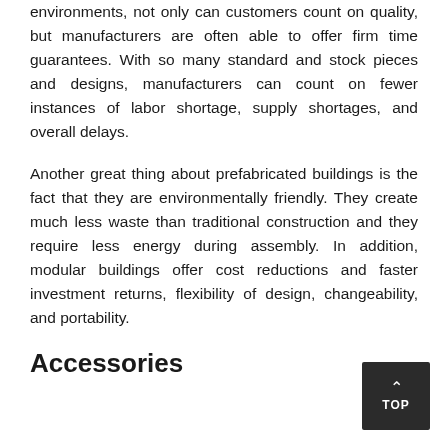environments, not only can customers count on quality, but manufacturers are often able to offer firm time guarantees. With so many standard and stock pieces and designs, manufacturers can count on fewer instances of labor shortage, supply shortages, and overall delays.
Another great thing about prefabricated buildings is the fact that they are environmentally friendly. They create much less waste than traditional construction and they require less energy during assembly. In addition, modular buildings offer cost reductions and faster investment returns, flexibility of design, changeability, and portability.
Accessories